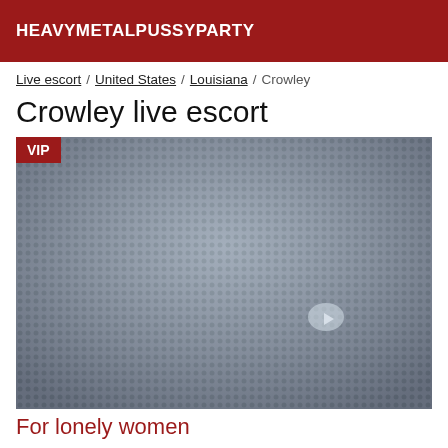HEAVYMETALPUSSYPARTY
Live escort / United States / Louisiana / Crowley
Crowley live escort
[Figure (photo): A blurred close-up photo of a dark fabric or mesh texture with a VIP badge in the top left corner]
For lonely women